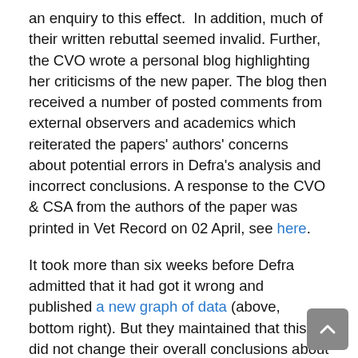an enquiry to this effect.  In addition, much of their written rebuttal seemed invalid. Further, the CVO wrote a personal blog highlighting her criticisms of the new paper. The blog then received a number of posted comments from external observers and academics which reiterated the papers' authors' concerns about potential errors in Defra's analysis and incorrect conclusions. A response to the CVO & CSA from the authors of the paper was printed in Vet Record on 02 April, see here.
It took more than six weeks before Defra admitted that it had got it wrong and published a new graph of data (above, bottom right). But they maintained that this did not change their overall conclusions about the new paper; basically that it was 'wrong'. They did not respond to the rebuttal arguments that the authors put forward in the 02 April issue of the journal Veterinary